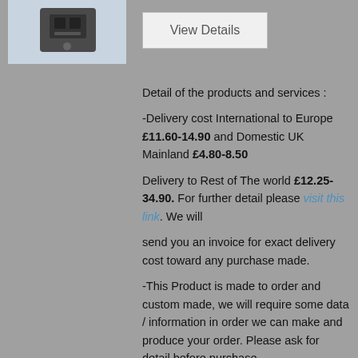[Figure (photo): Small product photo of a mechanical/electronic component (dark metal part) against a light blue-grey background]
View Details
Detail of the products and services :
-Delivery cost International to Europe £11.60-14.90 and Domestic UK Mainland £4.80-8.50
Delivery to Rest of The world £12.25-34.90. For further detail please visit this link. We will
send you an invoice for exact delivery cost toward any purchase made.
-This Product is made to order and custom made, we will require some data / information in order we can make and produce your order. Please ask for detail before purchase.
-No other parts in kit form are supplied except 3d printed parts